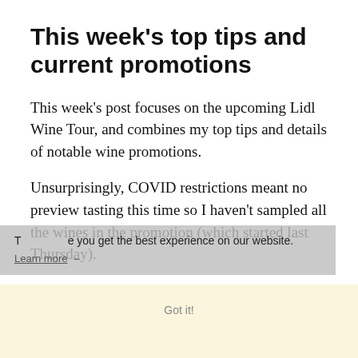This week's top tips and current promotions
This week's post focuses on the upcoming Lidl Wine Tour, and combines my top tips and details of notable wine promotions.
Unsurprisingly, COVID restrictions meant no preview tasting this time so I haven't sampled all the wines in the promotion (which started last Thursday).
However, you can check the Lidl website for the Master of Wine scores that are linked to most Lidl Wine Tour promotions.
The full list of offers includes around 30